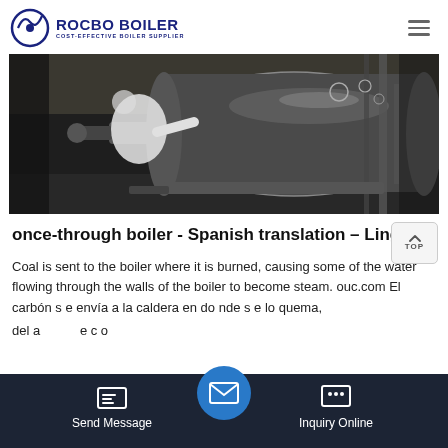ROCBO BOILER - COST-EFFECTIVE BOILER SUPPLIER
[Figure (photo): Worker in protective suit working on a large industrial boiler/turbine unit, dark industrial setting]
once-through boiler - Spanish translation – Linguee
Coal is sent to the boiler where it is burned, causing some of the water flowing through the walls of the boiler to become steam. ouc.com El carbón s e envía a la caldera en do nde s e lo quema, del a e c o
Send Message | Inquiry Online